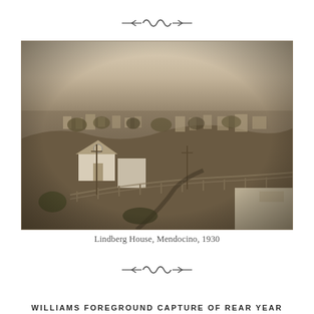[Figure (other): Decorative ornament / divider at top of page — stylized wave/scroll motif in dark ink]
[Figure (photo): Sepia-toned historical photograph showing an aerial/elevated view of Mendocino town with the Lindberg House prominent in the foreground, fields, fences, and town buildings in the background, 1930]
Lindberg House, Mendocino, 1930
[Figure (other): Decorative ornament / divider at bottom of page — stylized wave/scroll motif in dark ink]
WILLIAMS FOREGROUND CAPTURE OF REAR YEAR